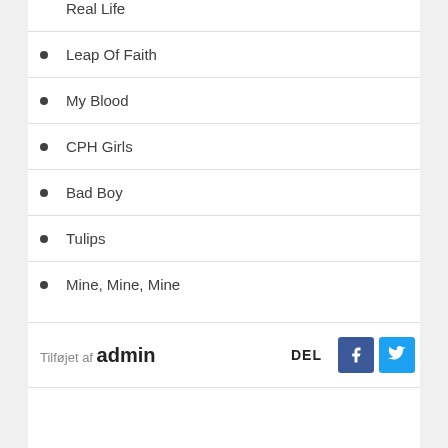Real Life
Leap Of Faith
My Blood
CPH Girls
Bad Boy
Tulips
Mine, Mine, Mine
Tilføjet af admin  DEL